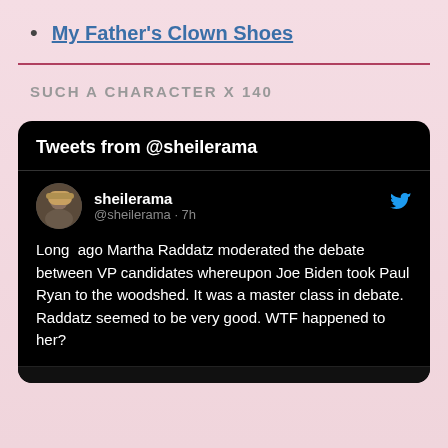My Father's Clown Shoes
SUCH A CHARACTER X 140
[Figure (screenshot): Twitter/X widget showing tweets from @sheilerama. Contains a tweet by user 'sheilerama' (@sheilerama) posted 7h ago reading: 'Long ago Martha Raddatz moderated the debate between VP candidates whereupon Joe Biden took Paul Ryan to the woodshed. It was a master class in debate. Raddatz seemed to be very good. WTF happened to her?']